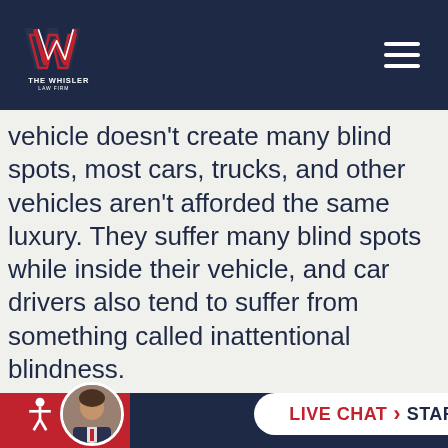The Whisler Law Firm
vehicle doesn't create many blind spots, most cars, trucks, and other vehicles aren't afforded the same luxury. They suffer many blind spots while inside their vehicle, and car drivers also tend to suffer from something called inattentional blindness.
This is the phenomenon that stems from car drivers not seeing motorcycles on the road as readily as they do other cars, simply because
LIVE CHAT › START NOW